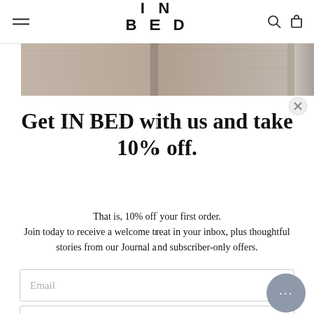IN BED
[Figure (photo): Horizontal strip of linen fabric swatches in neutral tones: taupe, beige, warm grey]
Get IN BED with us and take 10% off.
That is, 10% off your first order. Join today to receive a welcome treat in your inbox, plus thoughtful stories from our Journal and subscriber-only offers.